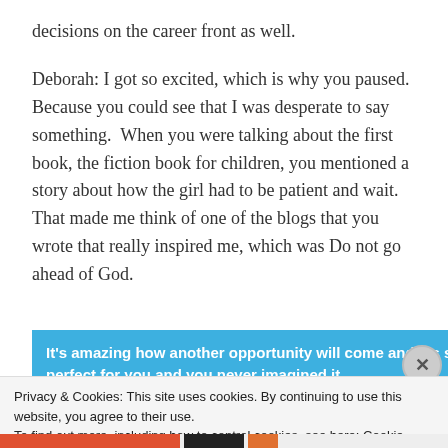decisions on the career front as well.
Deborah: I got so excited, which is why you paused. Because you could see that I was desperate to say something.  When you were talking about the first book, the fiction book for children, you mentioned a story about how the girl had to be patient and wait. That made me think of one of the blogs that you wrote that really inspired me, which was Do not go ahead of God.
It's amazing how another opportunity will come and it's so perfect for you and you never imagined it.
Privacy & Cookies: This site uses cookies. By continuing to use this website, you agree to their use.
To find out more, including how to control cookies, see here: Cookie Policy
Close and accept